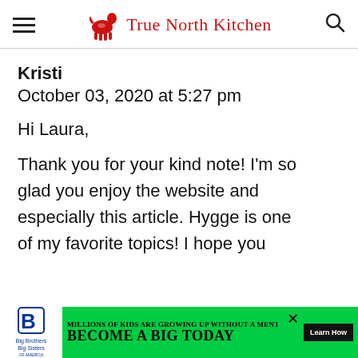True North Kitchen
Kristi
October 03, 2020 at 5:27 pm
Hi Laura,
Thank you for your kind note! I'm so glad you enjoy the website and especially this article. Hygge is one of my favorite topics! I hope you
[Figure (advertisement): Big Brothers Big Sisters advertisement: 'Millions of kids are growing up without a mentor. Become a Big Today. Learn How.']